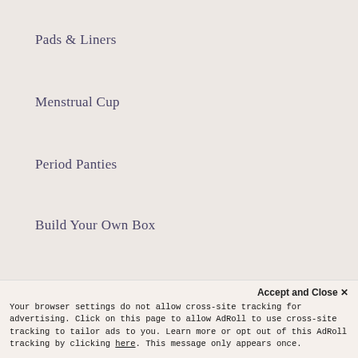Pads & Liners
Menstrual Cup
Period Panties
Build Your Own Box
HELP
Contact us / Vendor Inquiries
Shipping & Returns
Accept and Close ×
Your browser settings do not allow cross-site tracking for advertising. Click on this page to allow AdRoll to use cross-site tracking to tailor ads to you. Learn more or opt out of this AdRoll tracking by clicking here. This message only appears once.